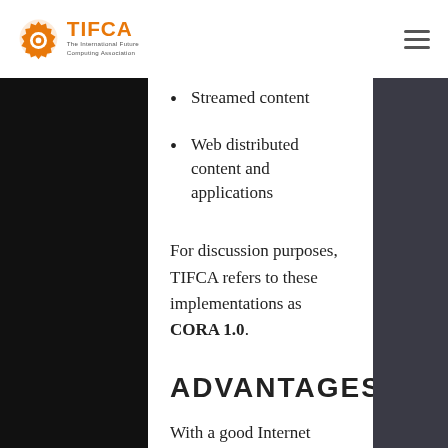TIFCA – The International Future Computing Association
Streamed content
Web distributed content and applications
For discussion purposes, TIFCA refers to these implementations as CORA 1.0.
ADVANTAGES
With a good Internet connection, almost any client device can run the same high quality content no matter its processing capability. This also means that a content maker only has to support a handful of platforms to reach a wide audience of potential client devices.